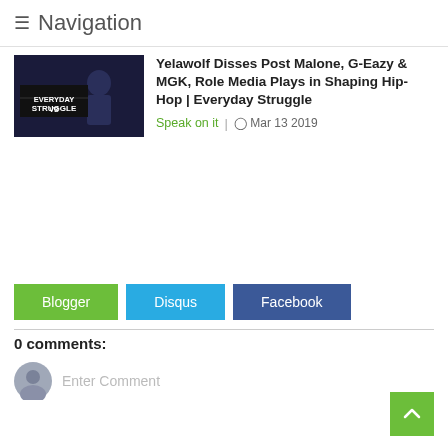≡ Navigation
[Figure (screenshot): Thumbnail image showing 'Everyday Struggle' TV show branding with dark blue background]
Yelawolf Disses Post Malone, G-Eazy & MGK, Role Media Plays in Shaping Hip-Hop | Everyday Struggle
Speak on it  |  ⊙ Mar 13 2019
Blogger  Disqus  Facebook
0 comments:
Enter Comment